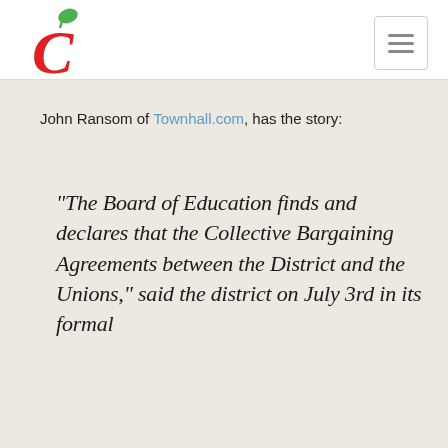[Figure (logo): Red letter C with green leaf on top — stylized apple/cherry logo]
John Ransom of Townhall.com, has the story:
“The Board of Education finds and declares that the Collective Bargaining Agreements between the District and the Unions,” said the district on July 3rd in its formal